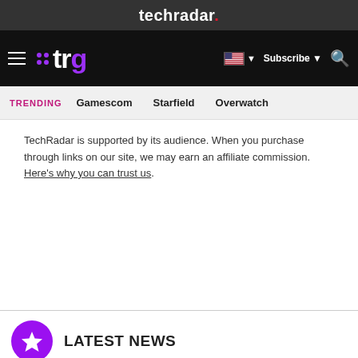techradar.
[Figure (logo): TechRadar Gaming (TRG) navigation bar with hamburger menu, logo, flag/Subscribe/Search controls]
TRENDING   Gamescom   Starfield   Overwatch
TechRadar is supported by its audience. When you purchase through links on our site, we may earn an affiliate commission. Here's why you can trust us.
LATEST NEWS
(partial article headline cut off at bottom)